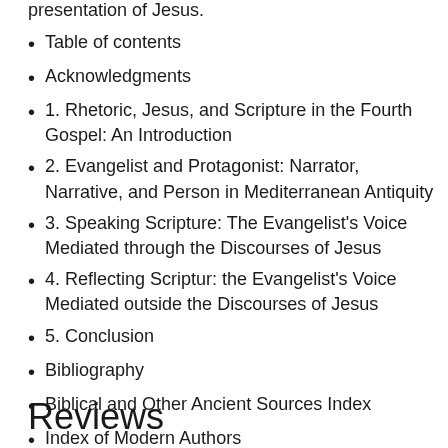presentation of Jesus.
Table of contents
Acknowledgments
1. Rhetoric, Jesus, and Scripture in the Fourth Gospel: An Introduction
2. Evangelist and Protagonist: Narrator, Narrative, and Person in Mediterranean Antiquity
3. Speaking Scripture: The Evangelist's Voice Mediated through the Discourses of Jesus
4. Reflecting Scriptur: the Evangelist's Voice Mediated outside the Discourses of Jesus
5. Conclusion
Bibliography
Biblical and Other Ancient Sources Index
Index of Modern Authors
Reviews